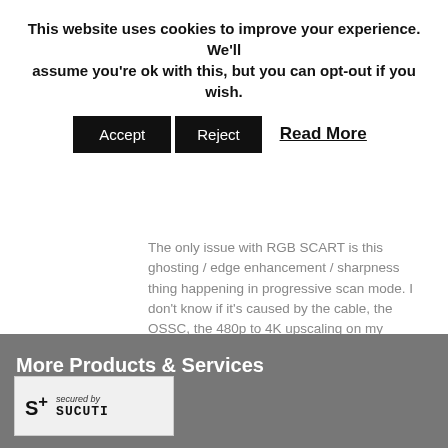This website uses cookies to improve your experience. We'll assume you're ok with this, but you can opt-out if you wish.
Accept | Reject | Read More
The only issue with RGB SCART is this ghosting / edge enhancement / sharpness thing happening in progressive scan mode. I don't know if it's caused by the cable, the OSSC, the 480p to 4K upscaling on my television or a combination of these factors. In any case I'll just live with it for now and invest in a new shielded RGB SCART cable from Retro Gaming Cables when they are in stock.
More Products & Services
[Figure (logo): Sucuri security badge with S+ logo and 'secured by SUCURI' text]